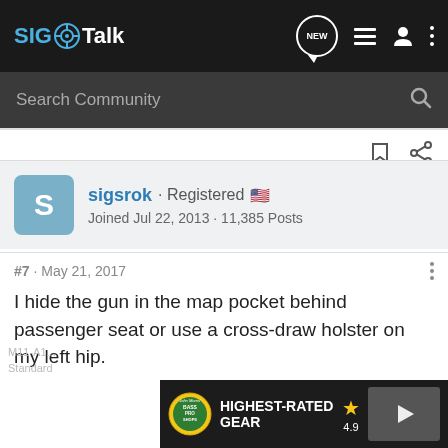SIG Talk
Search Community
sigsrok · Registered
Joined Jul 22, 2013 · 11,385 Posts
#7 · May 21, 2017
I hide the gun in the map pocket behind passenger seat or use a cross-draw holster on my left hip.
M11-A1...
Standard
[Figure (screenshot): Bass Pro Shops advertisement banner showing 'HIGHEST-RATED GEAR' text with rating 4.9 stars and product image with play button]